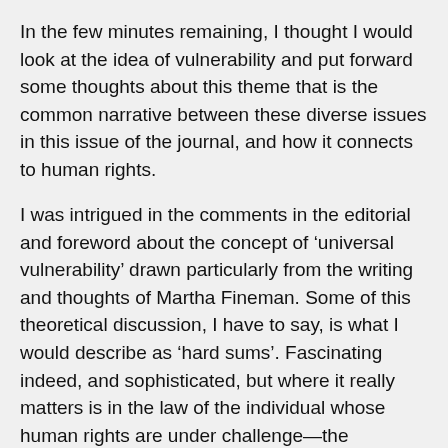In the few minutes remaining, I thought I would look at the idea of vulnerability and put forward some thoughts about this theme that is the common narrative between these diverse issues in this issue of the journal, and how it connects to human rights.
I was intrigued in the comments in the editorial and foreword about the concept of ‘universal vulnerability’ drawn particularly from the writing and thoughts of Martha Fineman. Some of this theoretical discussion, I have to say, is what I would describe as ‘hard sums’. Fascinating indeed, and sophisticated, but where it really matters is in the law of the individual whose human rights are under challenge—the individual who is the principal subject of the Universal Declaration of Human Rights, about to celebrate its 70th anniversary in December this year.
As the Editor, Veronica Sebesfi, describes Fineman’s writing,